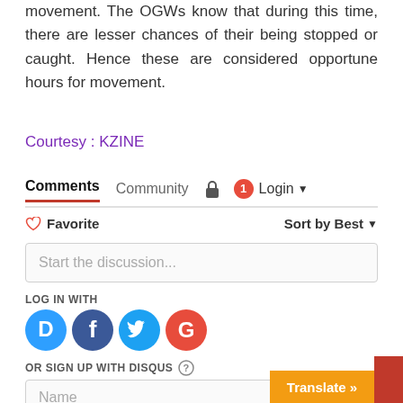movement. The OGWs know that during this time, there are lesser chances of their being stopped or caught. Hence these are considered opportune hours for movement.
Courtesy : KZINE
Comments   Community   🔒   1   Login ▾
♡ Favorite                    Sort by Best ▾
Start the discussion...
LOG IN WITH
[Figure (logo): Social login icons: Disqus (blue circle with D), Facebook (blue circle with f), Twitter (blue circle with bird), Google (red circle with G)]
OR SIGN UP WITH DISQUS ?
Name